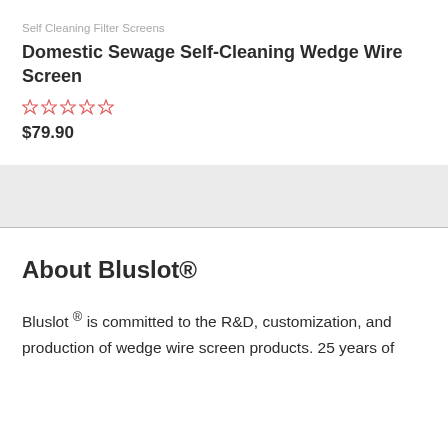Self Cleaning Filter Screens
Domestic Sewage Self-Cleaning Wedge Wire Screen
$79.90
About Bluslot®
Bluslot ® is committed to the R&D, customization, and production of wedge wire screen products. 25 years of